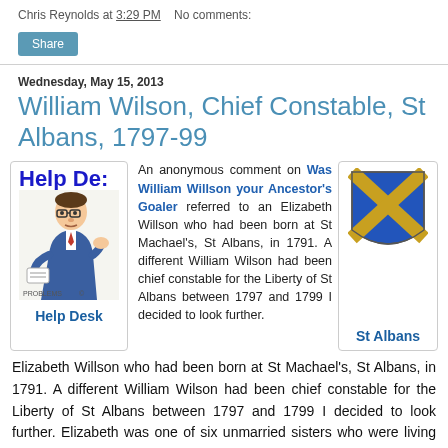Chris Reynolds at 3:29 PM   No comments:
Share
Wednesday, May 15, 2013
William Wilson, Chief Constable, St Albans, 1797-99
[Figure (illustration): Help Desk cartoon with man looking at paper, labeled 'Help De:' at top and 'Help Desk' at bottom]
An anonymous comment on Was William Willson your Ancestor's Goaler referred to an Elizabeth Willson who had been born at St Machael's, St Albans, in 1791. A different William Wilson had been chief constable for the Liberty of St Albans between 1797 and 1799 I decided to look further. Elizabeth was one of six unmarried sisters who were living together in the 1841, 1851 and 1861 censuses and I was able to trace their baptisms in St Albans, and that of a brother David, who was a coach builder. Their father
[Figure (illustration): St Albans coat of arms / heraldic shield with blue background and gold X cross pattern, labeled 'St Albans']